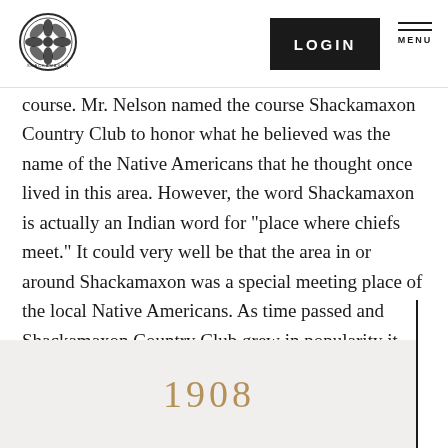[Figure (logo): Shackamaxon Country Club circular logo with floral emblem]
LOGIN   MENU
course. Mr. Nelson named the course Shackamaxon Country Club to honor what he believed was the name of the Native Americans that he thought once lived in this area. However, the word Shackamaxon is actually an Indian word for "place where chiefs meet." It could very well be that the area in or around Shackamaxon was a special meeting place of the local Native Americans. As time passed and Shackamaxon Country Club grew in popularity it would affectionately be known as "The Shack."
1908